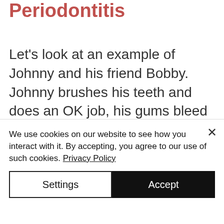Periodontitis
Let's look at an example of Johnny and his friend Bobby. Johnny brushes his teeth and does an OK job, his gums bleed when he brushes his teeth. He goes to the dentist for a check up and clean. Things look OK. The dentist confirms he has bleeding gums, and no
We use cookies on our website to see how you interact with it. By accepting, you agree to our use of such cookies. Privacy Policy